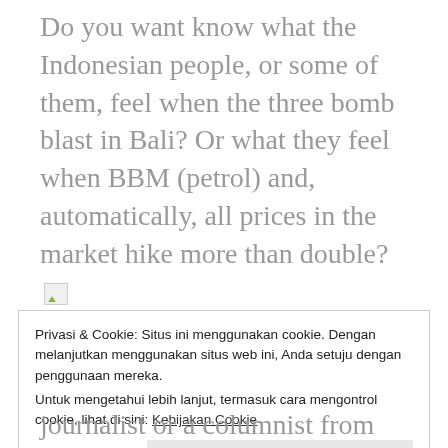Do you want know what the Indonesian people, or some of them, feel when the three bomb blast in Bali? Or what they feel when BBM (petrol) and, automatically, all prices in the market hike more than double? [image]
Come to Nad's Note: the Lesson of Unlearning. He/she seems to be
Privasi & Cookie: Situs ini menggunakan cookie. Dengan melanjutkan menggunakan situs web ini, Anda setuju dengan penggunaan mereka.
Untuk mengetahui lebih lanjut, termasuk cara mengontrol cookie, lihat di sini: Kebijakan Cookie
Tutup dan terima
journalist or a columnist from the way he